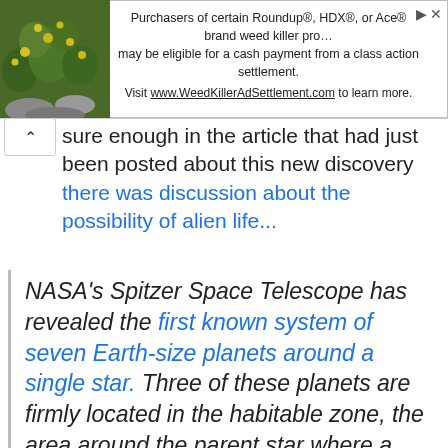[Figure (screenshot): Advertisement banner at top of page showing plant/flowers image on left and text about Roundup weed killer class action settlement on right]
sure enough in the article that had just been posted about this new discovery there was discussion about the possibility of alien life...
NASA's Spitzer Space Telescope has revealed the first known system of seven Earth-size planets around a single star. Three of these planets are firmly located in the habitable zone, the area around the parent star where a rocky planet is most likely to have liquid